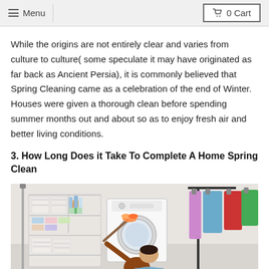Menu | 0 Cart
While the origins are not entirely clear and varies from culture to culture( some speculate it may have originated as far back as Ancient Persia), it is commonly believed that Spring Cleaning came as a celebration of the end of Winter. Houses were given a thorough clean before spending summer months out and about so as to enjoy fresh air and better living conditions.
3. How Long Does it Take To Complete A Home Spring Clean
[Figure (photo): A person cleaning in a laundry room with a washing machine, shelves with storage baskets and folded towels, cleaning supplies, orange flowers, and a clothing rack with colorful garments hanging on the right.]